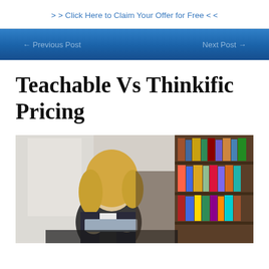> > Click Here to Claim Your Offer for Free < <
← Previous Post   Next Post →
Teachable Vs Thinkific Pricing
[Figure (photo): A blonde woman in a blazer sitting at a desk with a laptop, gesturing with her hands, with a bookshelf in the background.]